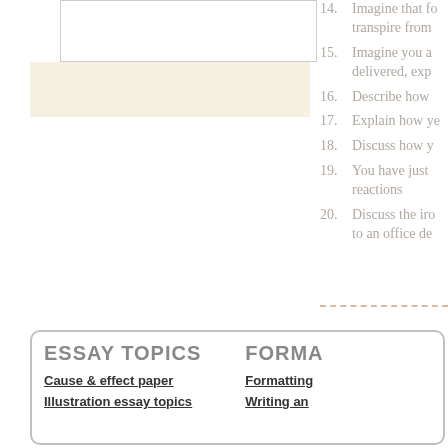[Figure (illustration): Left side image area with white box and cream/beige colored rectangle below it]
14. Imagine that fo... transpire from
15. Imagine you a... delivered, expl
16. Describe how
17. Explain how ye
18. Discuss how y
19. You have just ... reactions
20. Discuss the iro... to an office de
ESSAY TOPICS
Cause & effect paper
Illustration essay topics
FORMA
Formatting
Writing an